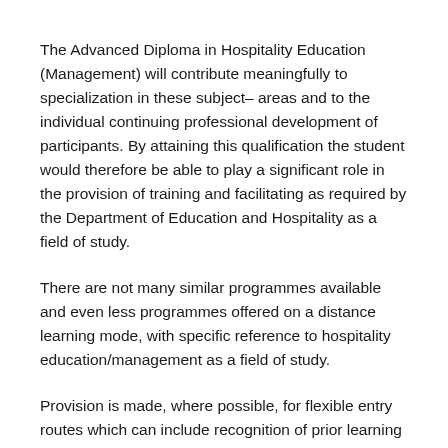The Advanced Diploma in Hospitality Education (Management) will contribute meaningfully to specialization in these subject– areas and to the individual continuing professional development of participants. By attaining this qualification the student would therefore be able to play a significant role in the provision of training and facilitating as required by the Department of Education and Hospitality as a field of study.
There are not many similar programmes available and even less programmes offered on a distance learning mode, with specific reference to hospitality education/management as a field of study.
Provision is made, where possible, for flexible entry routes which can include recognition of prior learning (RPL) with regard to general admission as well as additional requirements for the programme. Credit accumulation and